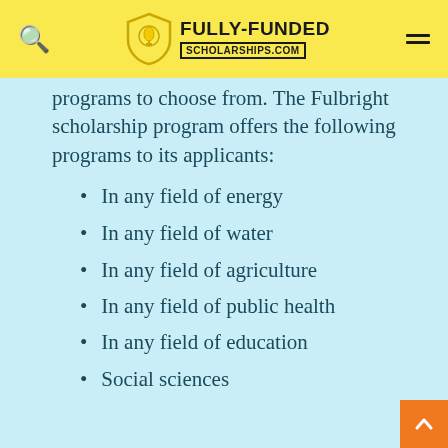FULLY-FUNDED SCHOLARSHIPS.COM
programs to choose from. The Fulbright scholarship program offers the following programs to its applicants:
In any field of energy
In any field of water
In any field of agriculture
In any field of public health
In any field of education
Social sciences